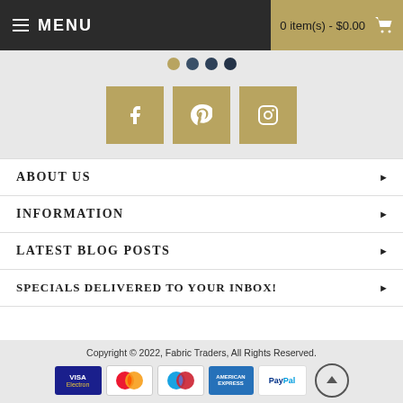MENU | 0 item(s) - $0.00
[Figure (illustration): Navigation dots: gold, dark blue (3 shades)]
[Figure (illustration): Social media icons: Facebook, Pinterest, Instagram in gold square buttons]
ABOUT US ▶
INFORMATION ▶
LATEST BLOG POSTS ▶
SPECIALS DELIVERED TO YOUR INBOX! ▶
Copyright © 2022, Fabric Traders, All Rights Reserved.